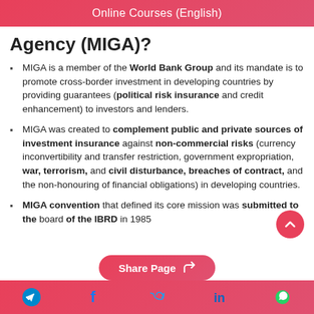Online Courses (English)
Agency (MIGA)?
MIGA is a member of the World Bank Group and its mandate is to promote cross-border investment in developing countries by providing guarantees (political risk insurance and credit enhancement) to investors and lenders.
MIGA was created to complement public and private sources of investment insurance against non-commercial risks (currency inconvertibility and transfer restriction, government expropriation, war, terrorism, and civil disturbance, breaches of contract, and the non-honouring of financial obligations) in developing countries.
MIGA convention that defined its core mission was submitted to the board of the IBRD in 1985
Social media icons: Telegram, Facebook, Twitter, LinkedIn, WhatsApp